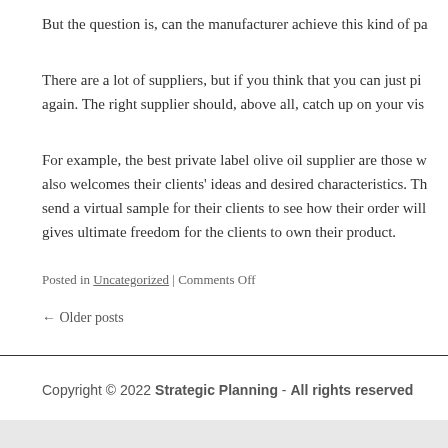But the question is, can the manufacturer achieve this kind of pa
There are a lot of suppliers, but if you think that you can just pi again. The right supplier should, above all, catch up on your vis
For example, the best private label olive oil supplier are those w also welcomes their clients' ideas and desired characteristics. Th send a virtual sample for their clients to see how their order will gives ultimate freedom for the clients to own their product.
Posted in Uncategorized | Comments Off
← Older posts
Copyright © 2022 Strategic Planning - All rights reserved